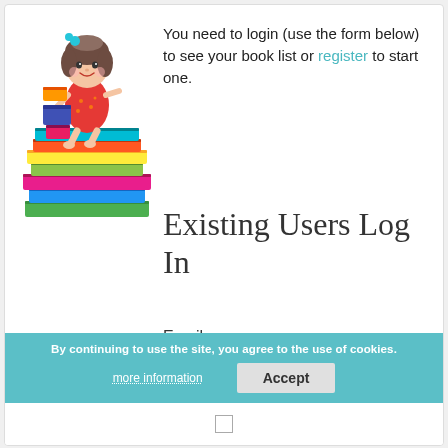[Figure (illustration): Cartoon illustration of a girl with brown hair standing on a tall colorful stack of books, holding more books.]
You need to login (use the form below) to see your book list or register to start one.
Existing Users Log In
Email
Password
By continuing to use the site, you agree to the use of cookies.
more information
Accept